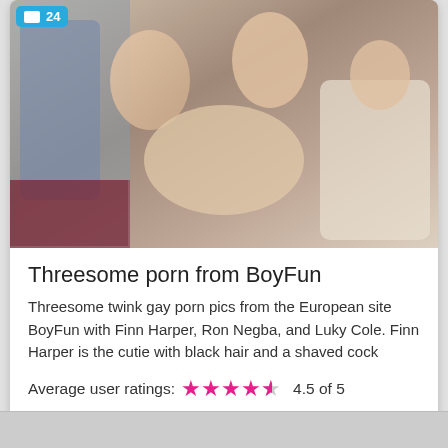[Figure (photo): Thumbnail image showing three people on a bed, with a blue badge showing '24' in the top left corner]
Threesome porn from BoyFun
Threesome twink gay porn pics from the European site BoyFun with Finn Harper, Ron Negba, and Luky Cole. Finn Harper is the cutie with black hair and a shaved cock
Average user ratings: 4.5 of 5
Posted July 27. 2022    Post views: 115